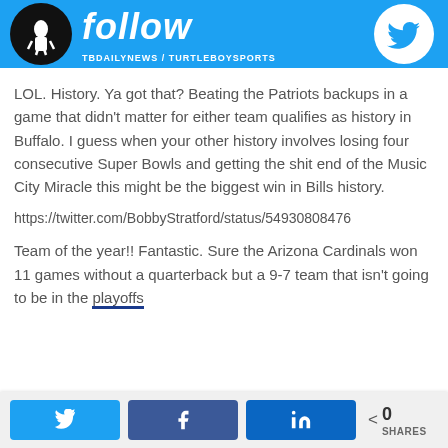[Figure (illustration): Twitter follow banner with Turtleboy Sports logo on left, 'follow' text in white italic, Twitter bird logo on right, and 'TBDAILYNEWS / TURTLEBOYSPORTS' subtext, all on a cyan/blue background.]
LOL. History. Ya got that? Beating the Patriots backups in a game that didn't matter for either team qualifies as history in Buffalo. I guess when your other history involves losing four consecutive Super Bowls and getting the shit end of the Music City Miracle this might be the biggest win in Bills history.
https://twitter.com/BobbyStratford/status/54930808476
Team of the year!! Fantastic. Sure the Arizona Cardinals won 11 games without a quarterback but a 9-7 team that isn't going to be in the playoffs